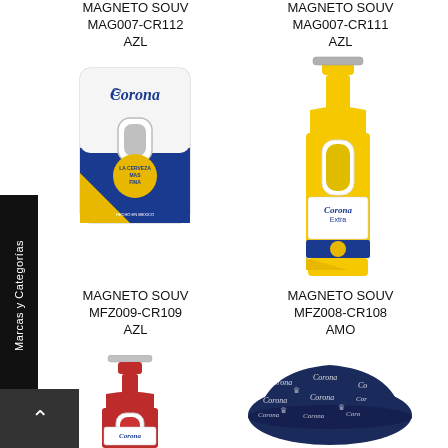MAGNETO SOUV MAG007-CR112 AZL
[Figure (photo): Corona Extra beer can-shaped bottle opener magnet souvenir, white and blue with gold label]
MAGNETO SOUV MAG007-CR111 AZL
[Figure (photo): Corona Extra beer bottle-shaped bottle opener magnet souvenir, yellow with blue label]
MAGNETO SOUV MFZ009-CR109 AZL
[Figure (photo): Corona beer bottle-shaped bottle opener magnet souvenir, red with Corona label]
MAGNETO SOUV MFZ008-CR108 AMO
[Figure (photo): Corona branded navy blue cap/hat with all-over Corona logo print]